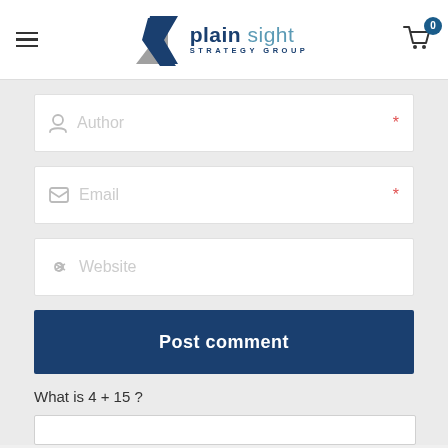Plain Sight Strategy Group — navigation header with hamburger menu and cart
[Figure (logo): Plain Sight Strategy Group logo with geometric arrow/triangle icon in dark blue and gray, with company name 'plain sight' and subtitle 'STRATEGY GROUP']
Author *
Email *
Website
Post comment
What is 4 + 15 ?